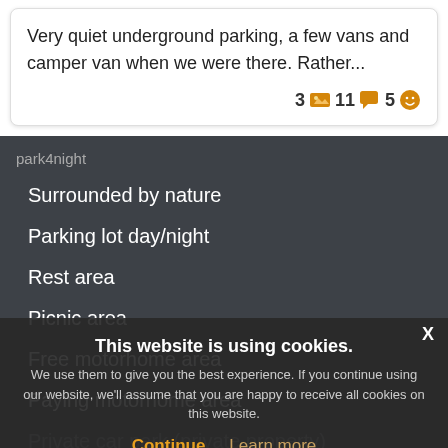Very quiet underground parking, a few vans and camper van when we were there. Rather...
3 [image icon] 11 [chat icon] 5 [emoji icon]
park4night
Surrounded by nature
Parking lot day/night
Rest area
Picnic area
Free motorhome area
Paying motorhome area
Private car park (private property)
On the farm (farm, vineyard...)
This website is using cookies. We use them to give you the best experience. If you continue using our website, we'll assume that you are happy to receive all cookies on this website.
Continue   Learn more